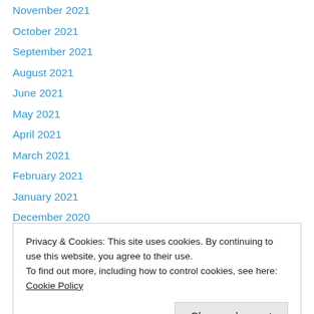November 2021
October 2021
September 2021
August 2021
June 2021
May 2021
April 2021
March 2021
February 2021
January 2021
December 2020
November 2020
October 2020
Privacy & Cookies: This site uses cookies. By continuing to use this website, you agree to their use.
To find out more, including how to control cookies, see here: Cookie Policy
February 2020